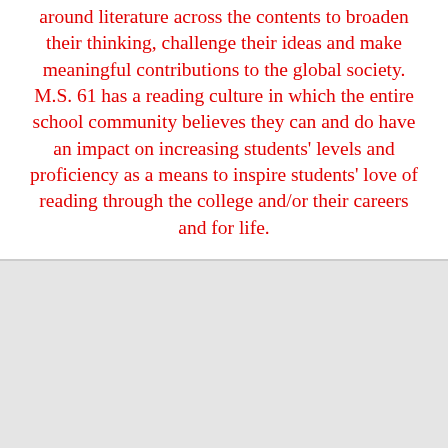around literature across the contents to broaden their thinking, challenge their ideas and make meaningful contributions to the global society. M.S. 61 has a reading culture in which the entire school community believes they can and do have an impact on increasing students' levels and proficiency as a means to inspire students' love of reading through the college and/or their careers and for life.
[Figure (other): Gray/light background section, empty or placeholder area below the text block]